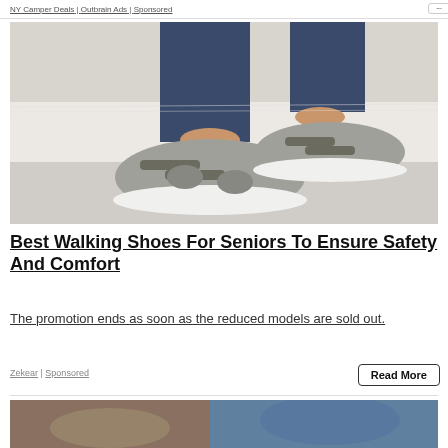NY Camper Deals | Outbrain Ads | Sponsored
[Figure (photo): Close-up photo of a woman's feet wearing grey orthopedic walking shoes with velcro straps, sitting on a white fluffy surface, wearing blue jeans with an anklet.]
Best Walking Shoes For Seniors To Ensure Safety And Comfort
The promotion ends as soon as the reduced models are sold out.
Zekear | Sponsored
[Figure (photo): Partial view of another advertisement image at the bottom of the page.]